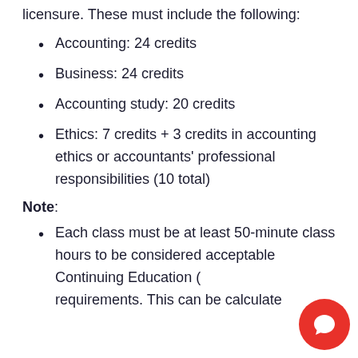licensure. These must include the following:
Accounting: 24 credits
Business: 24 credits
Accounting study: 20 credits
Ethics: 7 credits + 3 credits in accounting ethics or accountants' professional responsibilities (10 total)
Note:
Each class must be at least 50-minute class hours to be considered acceptable Continuing Education (CE) requirements. This can be calculated